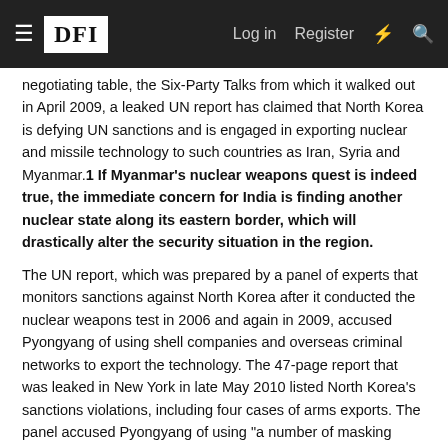DFI | Log in | Register
negotiating table, the Six-Party Talks from which it walked out in April 2009, a leaked UN report has claimed that North Korea is defying UN sanctions and is engaged in exporting nuclear and missile technology to such countries as Iran, Syria and Myanmar.1 If Myanmar's nuclear weapons quest is indeed true, the immediate concern for India is finding another nuclear state along its eastern border, which will drastically alter the security situation in the region.
The UN report, which was prepared by a panel of experts that monitors sanctions against North Korea after it conducted the nuclear weapons test in 2006 and again in 2009, accused Pyongyang of using shell companies and overseas criminal networks to export the technology. The 47-page report that was leaked in New York in late May 2010 listed North Korea's sanctions violations, including four cases of arms exports. The panel accused Pyongyang of using "a number of masking techniques."² Pyongyang was found to be "falsely labelling the contents of shipping and giving inaccurate information about